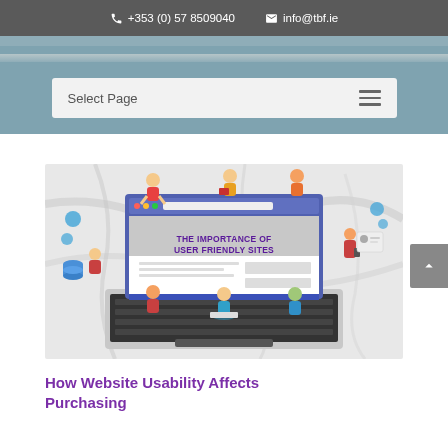+353 (0) 57 8509040   info@tbf.ie
Select Page
[Figure (illustration): Illustration of a laptop with the text 'THE IMPORTANCE OF USER FRIENDLY SITES' on screen, surrounded by cartoon people using devices, on a marble background.]
How Website Usability Affects Purchasing